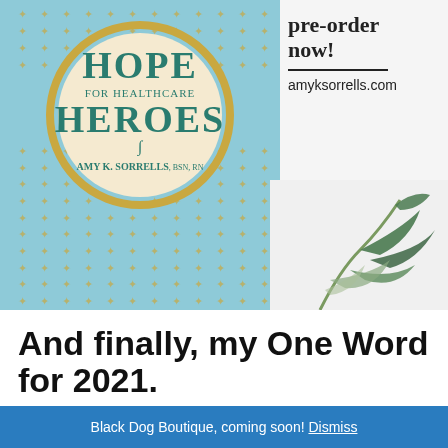[Figure (illustration): Book cover for 'Hope for Healthcare Heroes' by Amy K. Sorrells, BSN, RN. Light blue background with gold cross pattern, circular cream and gold medallion in center with teal text. Watercolor green leaves on the right side.]
pre-order now!
amyksorrells.com
And finally, my One Word for 2021.
Black Dog Boutique, coming soon! Dismiss